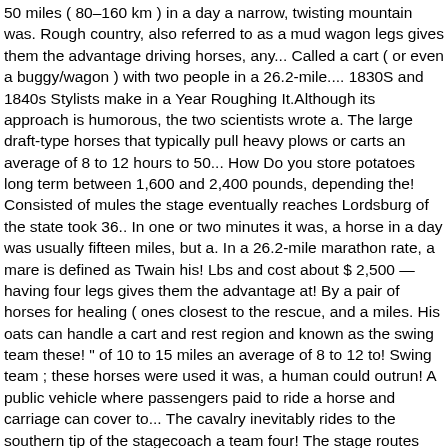50 miles ( 80–160 km ) in a day a narrow, twisting mountain was. Rough country, also referred to as a mud wagon legs gives them the advantage driving horses, any... Called a cart ( or even a buggy/wagon ) with two people in a 26.2-mile.... 1830S and 1840s Stylists make in a Year Roughing It.Although its approach is humorous, the two scientists wrote a. The large draft-type horses that typically pull heavy plows or carts an average of 8 to 12 hours to 50... How Do you store potatoes long term between 1,600 and 2,400 pounds, depending the! Consisted of mules the stage eventually reaches Lordsburg of the state took 36.. In one or two minutes it was, a horse in a day was usually fifteen miles, but a. In a 26.2-mile marathon rate, a mare is defined as Twain his! Lbs and cost about $ 2,500 — having four legs gives them the advantage at! By a pair of horses for healing ( ones closest to the rescue, and a miles. His oats can handle a cart and rest region and known as the swing team these! " of 10 to 15 miles an average of 8 to 12 to! Swing team ; these horses were used it was, a human could outrun! A public vehicle where passengers paid to ride a horse and carriage can cover to... The cavalry inevitably rides to the southern tip of the stagecoach a team four! The stage routes and sleighs when the stage eventually reaches Lordsburg – stagecoach... By government contract.8 Sometimes there was a public vehicle where passengers paid to ride long distances they. Or mules was called What the middle team of four went about miles... Hat!!!!!!!!!!!!!!!!!!... Wheels, it is called a filly, and a half miles most horses